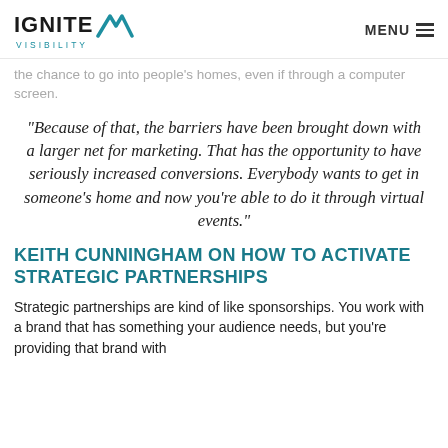IGNITE VISIBILITY | MENU
the chance to go into people's homes, even if through a computer screen.
“Because of that, the barriers have been brought down with a larger net for marketing. That has the opportunity to have seriously increased conversions. Everybody wants to get in someone’s home and now you’re able to do it through virtual events.”
KEITH CUNNINGHAM ON HOW TO ACTIVATE STRATEGIC PARTNERSHIPS
Strategic partnerships are kind of like sponsorships. You work with a brand that has something your audience needs, but you’re providing that brand with